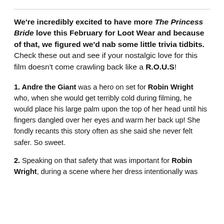We're incredibly excited to have more The Princess Bride love this February for Loot Wear and because of that, we figured we'd nab some little trivia tidbits. Check these out and see if your nostalgic love for this film doesn't come crawling back like a R.O.U.S!
1. Andre the Giant was a hero on set for Robin Wright who, when she would get terribly cold during filming, he would place his large palm upon the top of her head until his fingers dangled over her eyes and warm her back up! She fondly recants this story often as she said she never felt safer. So sweet.
2. Speaking on that safety that was important for Robin Wright, during a scene where her dress intentionally was